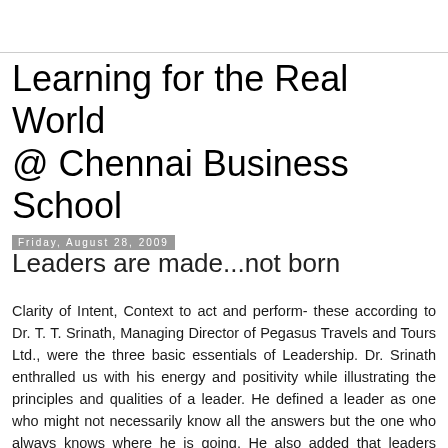Learning for the Real World @ Chennai Business School
Friday, August 28, 2009
Leaders are made...not born
Clarity of Intent, Context to act and perform- these according to Dr. T. T. Srinath, Managing Director of Pegasus Travels and Tours Ltd., were the three basic essentials of Leadership. Dr. Srinath enthralled us with his energy and positivity while illustrating the principles and qualities of a leader. He defined a leader as one who might not necessarily know all the answers but the one who always knows where he is going. He also added that leaders should have unconditional acceptance of themselves as well as others, and that their attitude is extremely important